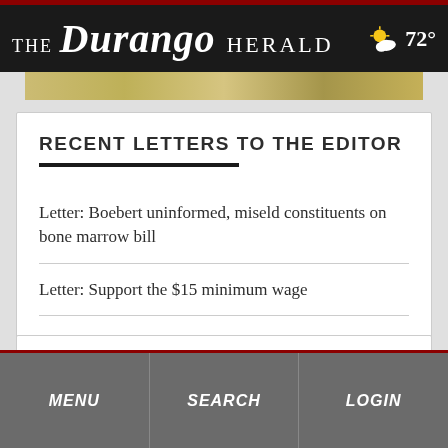THE Durango HERALD | 72°
RECENT LETTERS TO THE EDITOR
Letter: Boebert uninformed, miseld constituents on bone marrow bill
Letter: Support the $15 minimum wage
Letter: Keep up COVID-19 safety protocols
MENU   SEARCH   LOGIN